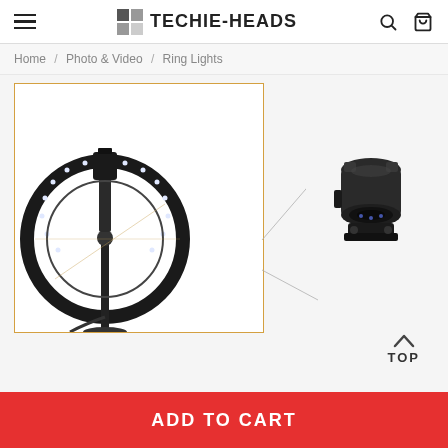TECHIE-HEADS
Home / Photo & Video / Ring Lights
[Figure (photo): Product page showing a ring light with phone holder mount, with a zoomed inset showing the ball head mount accessory in close-up detail. Orange border around main product image.]
TOP
ADD TO CART